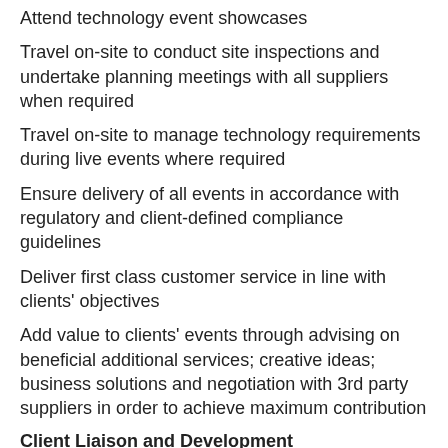Attend technology event showcases
Travel on-site to conduct site inspections and undertake planning meetings with all suppliers when required
Travel on-site to manage technology requirements during live events where required
Ensure delivery of all events in accordance with regulatory and client-defined compliance guidelines
Deliver first class customer service in line with clients' objectives
Add value to clients' events through advising on beneficial additional services; creative ideas; business solutions and negotiation with 3rd party suppliers in order to achieve maximum contribution
Client Liaison and Development
Meetings and liaison with clients where applicable to establish, maintain and develop relationships
Identify new opportunities and leads for existing and new business development
Assist with preparing and presenting technology elements of